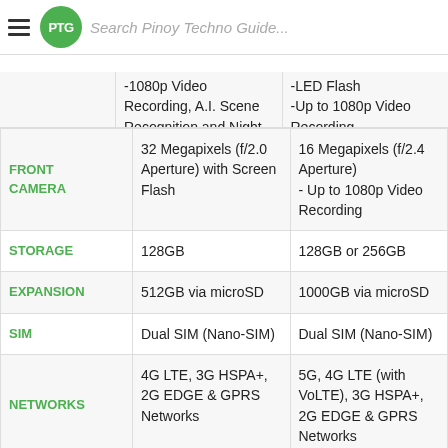Search Pinoy Techno Guide...
|  | Device 1 | Device 2 |
| --- | --- | --- |
|  | -1080p Video Recording, A.I. Scene Recognition and Night Mode | -LED Flash
-Up to 1080p Video Recording |
| FRONT CAMERA | 32 Megapixels (f/2.0 Aperture) with Screen Flash | 16 Megapixels (f/2.4 Aperture)
- Up to 1080p Video Recording |
| STORAGE | 128GB | 128GB or 256GB |
| EXPANSION | 512GB via microSD | 1000GB via microSD |
| SIM | Dual SIM (Nano-SIM) | Dual SIM (Nano-SIM) |
| NETWORKS | 4G LTE, 3G HSPA+, 2G EDGE & GPRS Networks | 5G, 4G LTE (with VoLTE), 3G HSPA+, 2G EDGE & GPRS Networks |